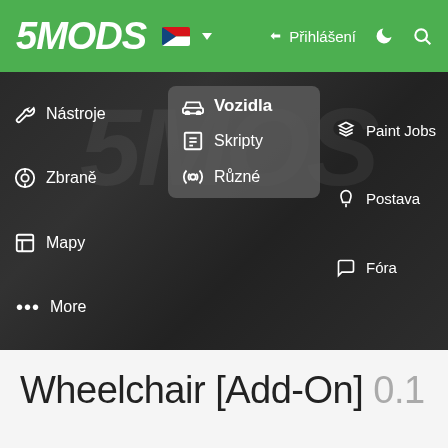5MODS — Přihlášení
[Figure (screenshot): 5MODS website navigation screenshot showing dropdown menu with categories: Nástroje, Zbraně, Mapy, More (left column); Vozidla (highlighted), Skripty, Různé (center dropdown); Paint Jobs, Postava, Fóra (right column). Dark background with blurred game imagery.]
Wheelchair [Add-On] 0.1